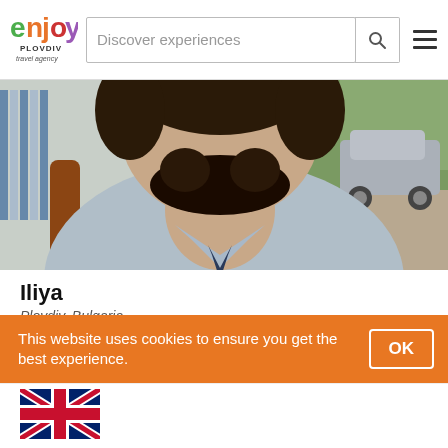Discover experiences
[Figure (photo): Close-up photo of a bearded man wearing a light grey polo shirt, outdoors with brick pavement and green trees visible in background]
Iliya
Plovdiv, Bulgaria
All of Bulgaria
This website uses cookies to ensure you get the best experience.
[Figure (illustration): UK flag (Union Jack)]